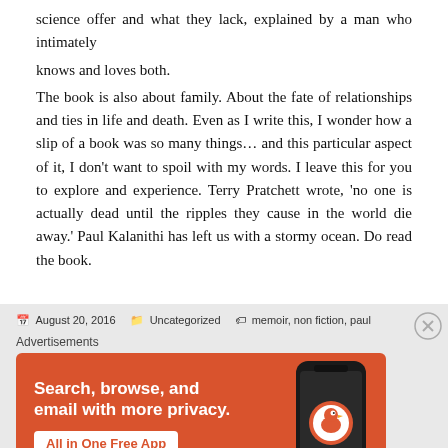science offer and what they lack, explained by a man who intimately
knows and loves both.
The book is also about family. About the fate of relationships and ties in life and death. Even as I write this, I wonder how a slip of a book was so many things… and this particular aspect of it, I don't want to spoil with my words. I leave this for you to explore and experience. Terry Pratchett wrote, 'no one is actually dead until the ripples they cause in the world die away.' Paul Kalanithi has left us with a stormy ocean. Do read the book.
August 20, 2016   Uncategorized   memoir, non fiction, paul
[Figure (infographic): DuckDuckGo advertisement banner: orange background with text 'Search, browse, and email with more privacy. All in One Free App' and a phone graphic with the DuckDuckGo logo.]